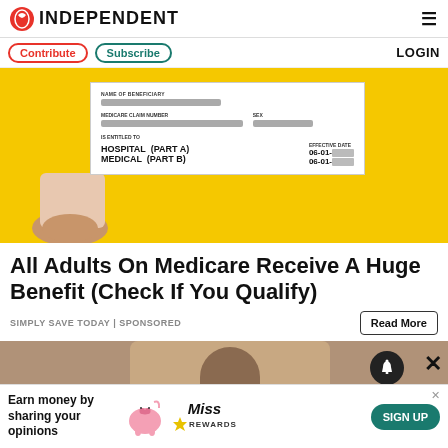INDEPENDENT
[Figure (photo): A hand holding a Medicare card with fields for NAME OF BENEFICIARY, MEDICARE CLAIM NUMBER, SEX, IS ENTITLED TO (HOSPITAL PART A, MEDICAL PART B), and EFFECTIVE DATE (06-01-...), against a yellow background. Personal information is blurred.]
All Adults On Medicare Receive A Huge Benefit (Check If You Qualify)
SIMPLY SAVE TODAY | Sponsored
[Figure (photo): Bottom portion of a photo showing a person, partially visible, with a notification bell icon and close button overlay.]
[Figure (infographic): Advertisement banner: Earn money by sharing your opinions. Miss Rewards. SIGN UP button. Piggy bank illustration.]